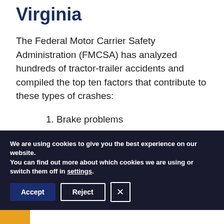Virginia
The Federal Motor Carrier Safety Administration (FMCSA) has analyzed hundreds of tractor-trailer accidents and compiled the top ten factors that contribute to these types of crashes:
1. Brake problems
2. Traffic flow interruption, like congestion or a previous crash
3. Prescription drug usage
We are using cookies to give you the best experience on our website.
You can find out more about which cookies we are using or switch them off in settings.